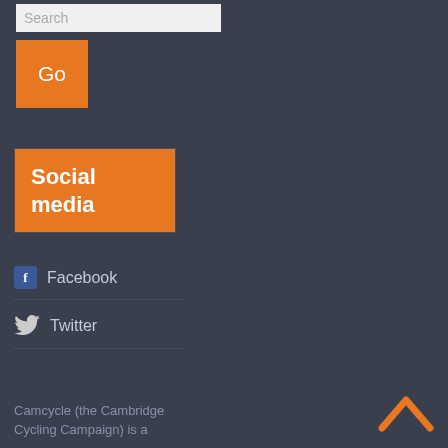Search
Go
Social media
Facebook
Twitter
Camcycle (the Cambridge Cycling Campaign) is a